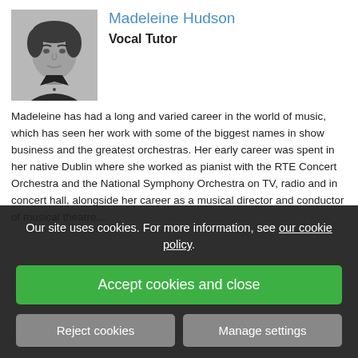[Figure (photo): Black and white headshot photo of Madeleine Hudson, a woman with short dark hair wearing a dark top]
Madeleine Hudson
Vocal Tutor
Madeleine has had a long and varied career in the world of music, which has seen her work with some of the biggest names in show business and the greatest orchestras. Her early career was spent in her native Dublin where she worked as pianist with the RTE Concert Orchestra and the National Symphony Orchestra on TV, radio and in concert hall, alongside her career as a musical director and conductor of musical theatre...
Read more...
Our site uses cookies. For more information, see our cookie policy.
Accept cookies and close
Reject cookies
Manage settings
Singing ABRSM Musical Theatre